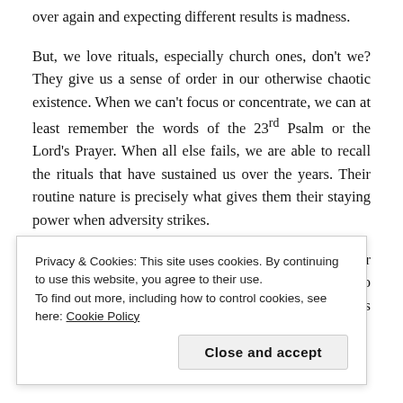over again and expecting different results is madness.
But, we love rituals, especially church ones, don't we? They give us a sense of order in our otherwise chaotic existence. When we can't focus or concentrate, we can at least remember the words of the 23rd Psalm or the Lord's Prayer. When all else fails, we are able to recall the rituals that have sustained us over the years. Their routine nature is precisely what gives them their staying power when adversity strikes.
But don't most of us also abhor anything that is stale or routine? Even in interpersonal relationships we want to spice things up every now and then. Yet, what works better than what has
Privacy & Cookies: This site uses cookies. By continuing to use this website, you agree to their use.
To find out more, including how to control cookies, see here: Cookie Policy
Close and accept